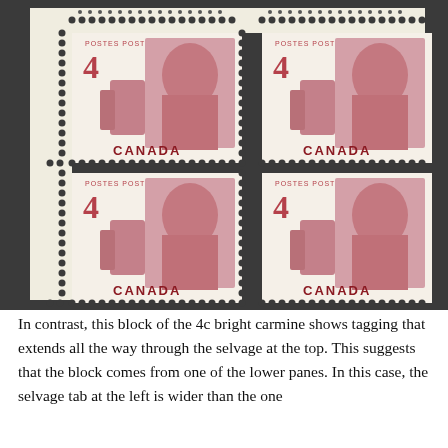[Figure (photo): A block of four Canada 4-cent bright carmine stamps (Queen Elizabeth II Centennial issue) with selvage at top and left. The stamps show a portrait of Queen Elizabeth II and the numeral 4, with 'POSTES POSTAGE' at top and 'CANADA' at bottom. The block has perforations visible between and around stamps, and the selvage at top shows dot/tagging markings extending through it.]
In contrast, this block of the 4c bright carmine shows tagging that extends all the way through the selvage at the top. This suggests that the block comes from one of the lower panes. In this case, the selvage tab at the left is wider than the one